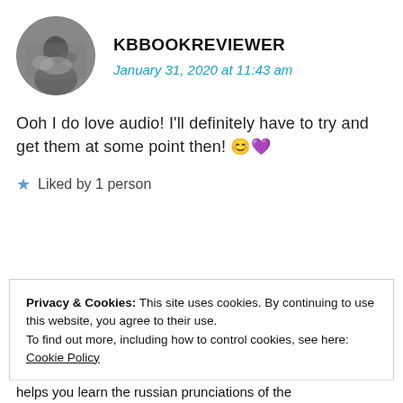[Figure (photo): Circular avatar photo of user kbbookreviewer, black and white photo]
KBBOOKREVIEWER
January 31, 2020 at 11:43 am
Ooh I do love audio! I'll definitely have to try and get them at some point then! 😊💜
Liked by 1 person
Privacy & Cookies: This site uses cookies. By continuing to use this website, you agree to their use.
To find out more, including how to control cookies, see here: Cookie Policy
Close and accept
helps you learn the russian prunciations of the